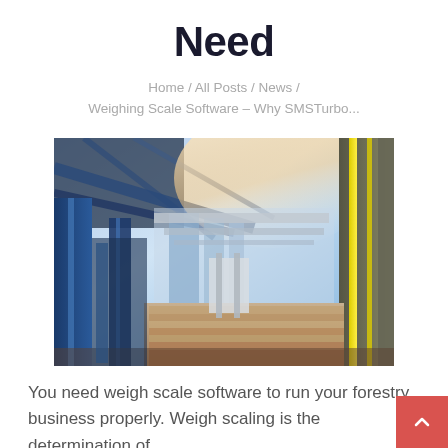Need
Home / All Posts / News / Weighing Scale Software – Why SMSTurbo...
[Figure (photo): Industrial warehouse interior with machinery, lumber stacks, and metal structures under bright overhead lighting with blue and warm tones.]
You need weigh scale software to run your forestry business properly. Weigh scaling is the determination of